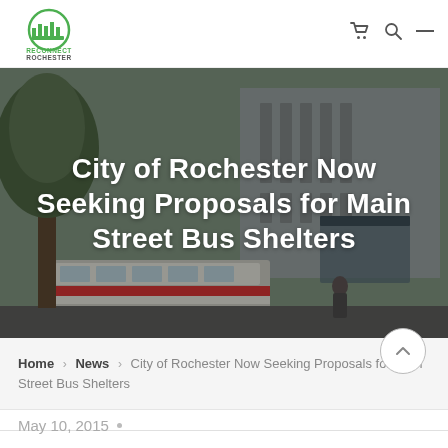Reconnect Rochester – navigation bar with logo and icons
[Figure (photo): Street-level photo of a city downtown area with a light rail/tram, trees, and a multi-story building. Overlaid with large white title text.]
City of Rochester Now Seeking Proposals for Main Street Bus Shelters
Home > News > City of Rochester Now Seeking Proposals for Main Street Bus Shelters
May 10, 2015 •